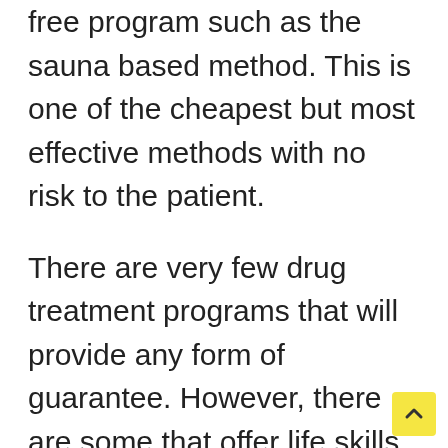free program such as the sauna based method. This is one of the cheapest but most effective methods with no risk to the patient.
There are very few drug treatment programs that will provide any form of guarantee. However, there are some that offer life skills training, medically safe detox and a long term follow up program, which indicate they have the best interests of the patient in mind. It is particularly impressive if they go on to include a